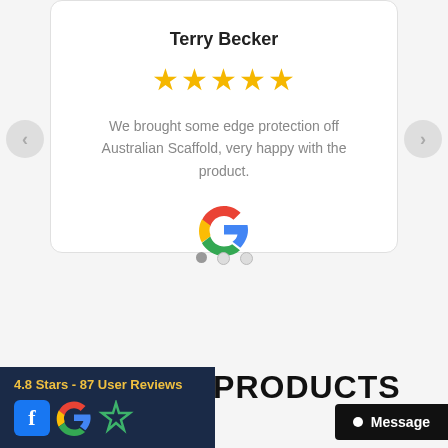Terry Becker
[Figure (other): Five yellow stars rating]
We brought some edge protection off Australian Scaffold, very happy with the product.
[Figure (logo): Google G logo]
[Figure (other): Carousel navigation dots: one active, two inactive]
RELATED PRODUCTS
[Figure (infographic): 4.8 Stars - 87 User Reviews badge with Facebook, Google, and star icons on dark blue background]
[Figure (other): Message button: black button with white dot and text 'Message']